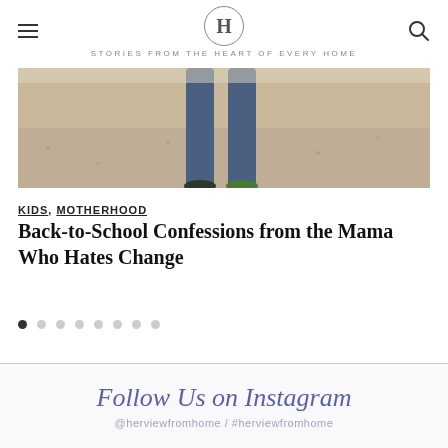H — STORIES FROM THE HEART OF EVERY HOME
[Figure (photo): Partial photo of a child's feet/legs in jeans standing on sandy/dusty ground, viewed from behind.]
KIDS, MOTHERHOOD
Back-to-School Confessions from the Mama Who Hates Change
Carousel navigation dots (8 dots, first active)
Follow Us on Instagram
@herviewfromhome / #herviewfromhome